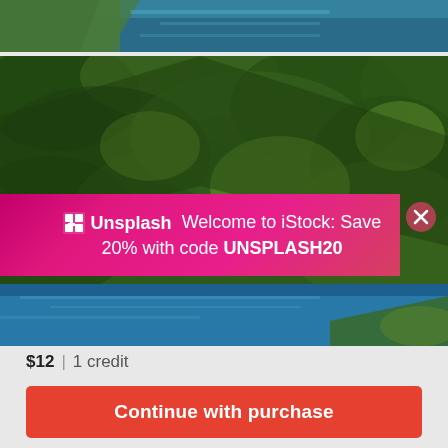[Figure (photo): Aerial view of water/lake shoreline strip at top of page]
[Figure (photo): Aerial view of dense forested hillside with blue lake visible at bottom]
Unsplash  Welcome to iStock: Save 20% with code UNSPLASH20
$12 | 1 credit
Continue with purchase